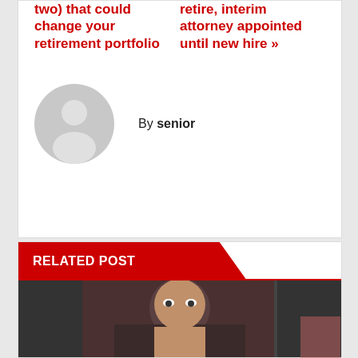two) that could change your retirement portfolio
retire, interim attorney appointed until new hire »
By senior
[Figure (illustration): Grey avatar/profile placeholder icon — a circle with a silhouette of a person (head and shoulders) in grey tones]
RELATED POST
[Figure (photo): Photo of a man's face, partially visible, appears to be a sports or news context with reddish background tones]